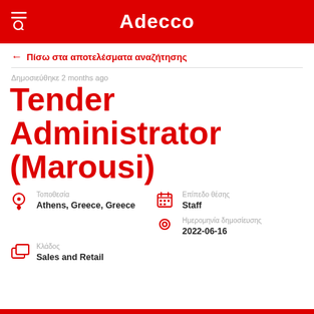Adecco
← Πίσω στα αποτελέσματα αναζήτησης
Δημοσιεύθηκε 2 months ago
Tender Administrator (Marousi)
Τοποθεσία
Athens, Greece, Greece
Επίπεδο θέσης
Staff
Ημερομηνία δημοσίευσης
2022-06-16
Κλάδος
Sales and Retail